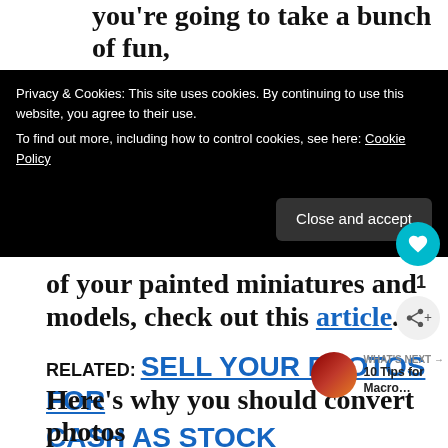you're going to take a bunch of fun,
[Figure (screenshot): Cookie consent banner with black background. Text reads: 'Privacy & Cookies: This site uses cookies. By continuing to use this website, you agree to their use. To find out more, including how to control cookies, see here: Cookie Policy'. Button labeled 'Close and accept'.]
of your painted miniatures and models, check out this article.
RELATED: SELL YOUR PHOTOS FOR CASH AS STOCK IMAGES ON DREAMSTIME
Here's why you should convert photos